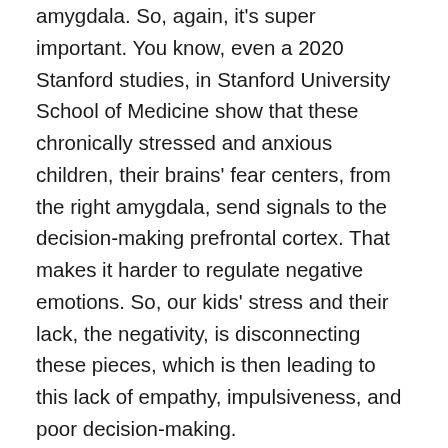amygdala. So, again, it's super important. You know, even a 2020 Stanford studies, in Stanford University School of Medicine show that these chronically stressed and anxious children, their brains' fear centers, from the right amygdala, send signals to the decision-making prefrontal cortex. That makes it harder to regulate negative emotions. So, our kids' stress and their lack, the negativity, is disconnecting these pieces, which is then leading to this lack of empathy, impulsiveness, and poor decision-making.
So, how are we gonna fix that? Again, getting these kids that are chronically stressed to really focus on incorporating a stress management technique into their daily routine. You know, in the morning, for me, for us, you know, obviously the kids are getting their nature every morning, getting that early morning sunlight. They're like, “Mama, we gotta go and